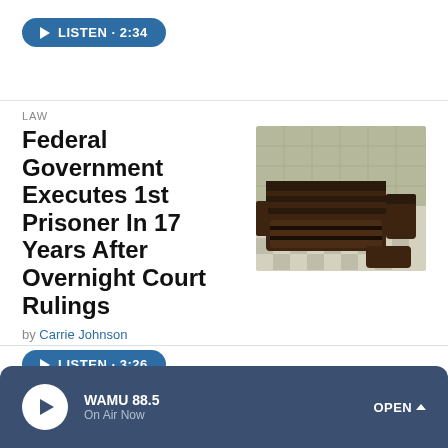[Figure (other): Listen button with play icon: LISTEN · 2:34]
LAW
Federal Government Executes 1st Prisoner In 17 Years After Overnight Court Rulings
[Figure (photo): Photo of a execution chamber gurney/chair, dark brown leather straps, tiled floor with checkered pattern]
by Carrie Johnson
[Figure (other): Listen button with play icon: LISTEN · 3:26]
WAMU 88.5 On Air Now OPEN ^